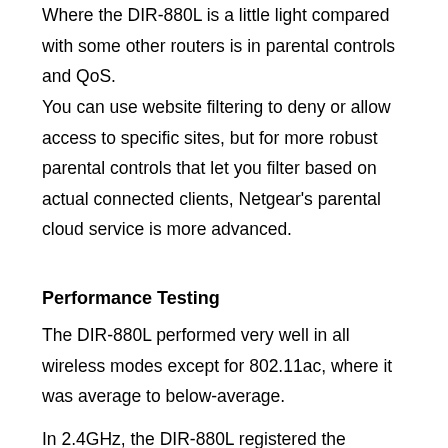Where the DIR-880L is a little light compared with some other routers is in parental controls and QoS.
You can use website filtering to deny or allow access to specific sites, but for more robust parental controls that let you filter based on actual connected clients, Netgear's parental cloud service is more advanced.
Performance Testing
The DIR-880L performed very well in all wireless modes except for 802.11ac, where it was average to below-average.
In 2.4GHz, the DIR-880L registered the